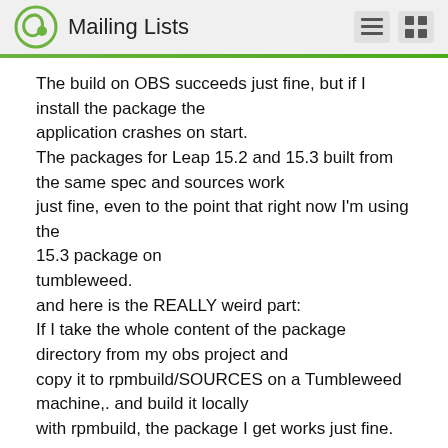Mailing Lists
The build on OBS succeeds just fine, but if I install the package the application crashes on start.
The packages for Leap 15.2 and 15.3 built from the same spec and sources work just fine, even to the point that right now I'm using the 15.3 package on tumbleweed.
and here is the REALLY weird part:
If I take the whole content of the package directory from my obs project and copy it to rpmbuild/SOURCES on a Tumbleweed machine,. and build it locally with rpmbuild, the package I get works just fine.